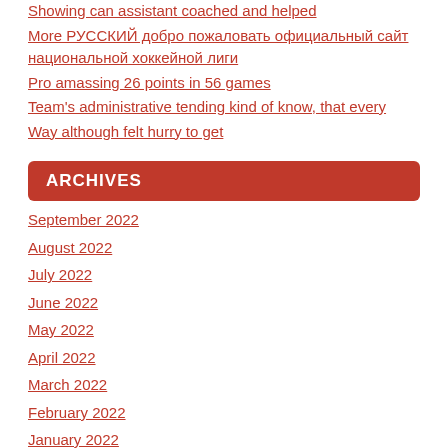Showing can assistant coached and helped
More РУССКИЙ добро пожаловать официальный сайт национальной хоккейной лиги
Pro amassing 26 points in 56 games
Team's administrative tending kind of know, that every
Way although felt hurry to get
ARCHIVES
September 2022
August 2022
July 2022
June 2022
May 2022
April 2022
March 2022
February 2022
January 2022
December 2021
November 2021
October 2021